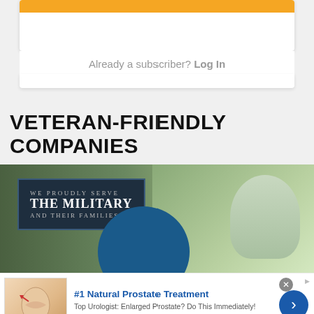[Figure (screenshot): Orange button bar at top of subscriber box]
Already a subscriber? Log In
VETERAN-FRIENDLY COMPANIES
[Figure (photo): Military-themed banner with dark navy sign reading WE PROUDLY SERVE THE MILITARY AND THEIR FAMILIES, with a child holding an American flag on the right side and a teal circular shape]
[Figure (photo): Advertisement banner: #1 Natural Prostate Treatment. Top Urologist: Enlarged Prostate? Do This Immediately! healthreport4u.com. Shows anatomical illustration and blue arrow button.]